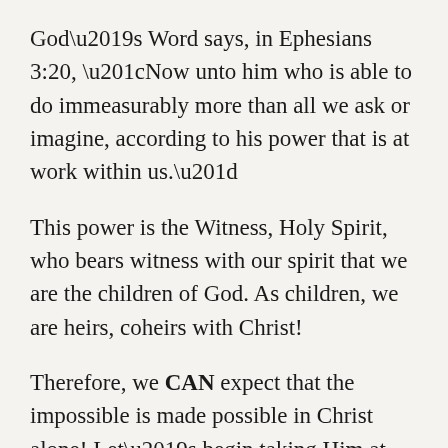God’s Word says, in Ephesians 3:20, “Now unto him who is able to do immeasurably more than all we ask or imagine, according to his power that is at work within us.”
This power is the Witness, Holy Spirit, who bears witness with our spirit that we are the children of God. As children, we are heirs, coheirs with Christ!
Therefore, we CAN expect that the impossible is made possible in Christ alone! Let’s begin taking Him at His Word. Let’s begin to exercise our faith in the ONLY One who is faithful!
Hebrews 11:6, “And without faith it is impossible to